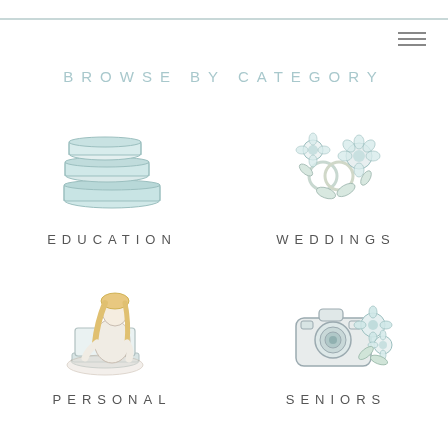BROWSE BY CATEGORY
[Figure (illustration): Stack of books illustration in light teal/blue tones]
EDUCATION
[Figure (illustration): Wedding rings with flowers illustration in light teal/blue tones]
WEDDINGS
[Figure (illustration): Person sitting with laptop illustration in warm beige tones]
PERSONAL
[Figure (illustration): Camera with flowers illustration in light teal/grey tones]
SENIORS